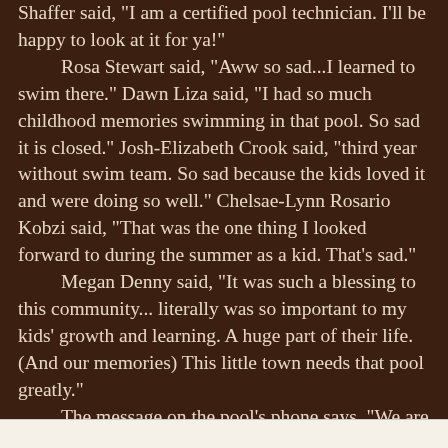Shaffer said, "I am a certified pool technician. I'll be happy to look at it for ya!"
    Rosa Stewart said, "Aww so sad...I learned to swim there." Dawn Liza said, "I had so much childhood memories swimming in that pool. So sad it is closed." Josh-Elizabeth Crook said, "third year without swim team. So sad because the kids loved it and were doing so well." Chelsae-Lynn Rosario Kobzi said, "That was the one thing I looked forward to during the summer as a kid. That's sad."
    Megan Denny said, "It was such a blessing to this community... literally was so important to my kids' growth and learning. A huge part of their life. (And our memories) This little town needs that pool greatly."
    The message on the pool's phone says, "We are currently closed. Possible reopening of the pool may take up to eight to 12 months due to ongoing mechanical issues. All keiki Learn to Swim Summer Classes will be cancelled. We apologize for any inconvenience." Messages can be left at 808-928-8177. The pool is operated by the County of Hawai'i Department of Parks & Recreation's Aquatics Division.